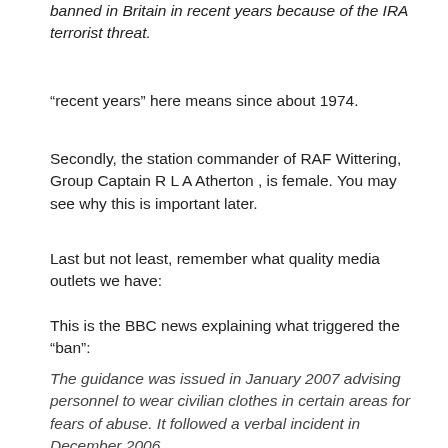banned in Britain in recent years because of the IRA terrorist threat.
“recent years” here means since about 1974.
Secondly, the station commander of RAF Wittering, Group Captain R L A Atherton , is female. You may see why this is important later.
Last but not least, remember what quality media outlets we have:
This is the BBC news explaining what triggered the “ban”:
The guidance was issued in January 2007 advising personnel to wear civilian clothes in certain areas for fears of abuse. It followed a verbal incident in December 2006.
No, seriously. The guidance was issued over a YEAR ago. Really. This is what passes as “news” today… To support this, this is how the Times (normally one of the few quality